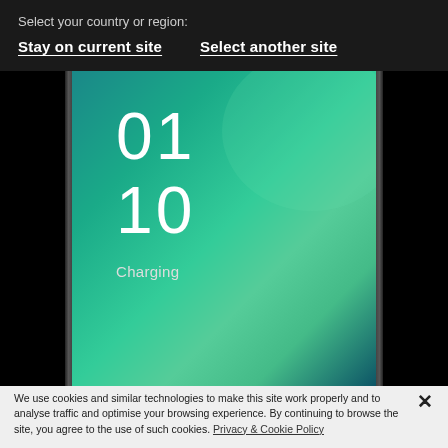Select your country or region:
Stay on current site    Select another site
[Figure (screenshot): A smartphone screen showing a lock screen or always-on display with the time '01' and '10' and the word 'Charging' on a teal/green gradient background. The phone has visible side edges.]
We use cookies and similar technologies to make this site work properly and to analyse traffic and optimise your browsing experience. By continuing to browse the site, you agree to the use of such cookies. Privacy & Cookie Policy